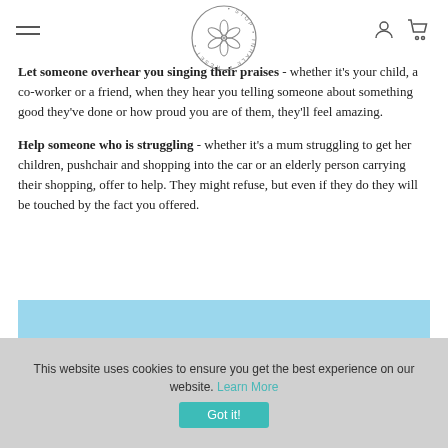[Figure (logo): Stop Inhale Reset circular logo with flower mandala design]
Let someone overhear you singing their praises - whether it's your child, a co-worker or a friend, when they hear you telling someone about something good they've done or how proud you are of them, they'll feel amazing.
Help someone who is struggling - whether it's a mum struggling to get her children, pushchair and shopping into the car or an elderly person carrying their shopping, offer to help. They might refuse, but even if they do they will be touched by the fact you offered.
[Figure (photo): Person wearing a bucket hat against a light blue sky background]
This website uses cookies to ensure you get the best experience on our website. Learn More Got it!